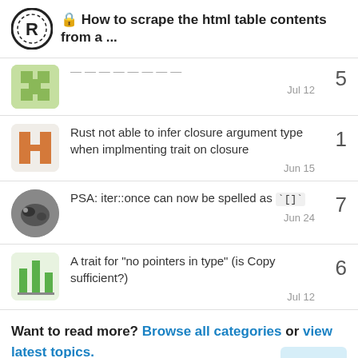How to scrape the html table contents from a ...
Jul 12 — (reply count: 5, partially visible)
Rust not able to infer closure argument type when implmenting trait on closure — 1 — Jun 15
PSA: iter::once can now be spelled as `[]` — 7 — Jun 24
A trait for "no pointers in type" (is Copy sufficient?) — 6 — Jul 12
Want to read more? Browse all categories or view latest topics.
7 / 9